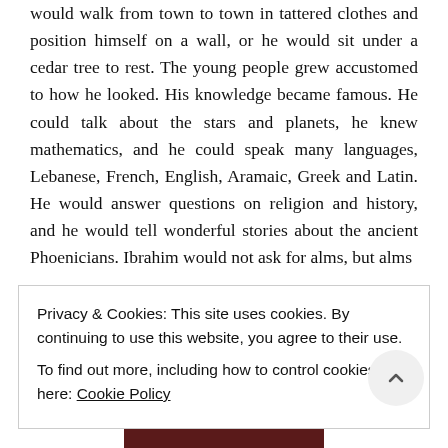would walk from town to town in tattered clothes and position himself on a wall, or he would sit under a cedar tree to rest. The young people grew accustomed to how he looked. His knowledge became famous. He could talk about the stars and planets, he knew mathematics, and he could speak many languages, Lebanese, French, English, Aramaic, Greek and Latin. He would answer questions on religion and history, and he would tell wonderful stories about the ancient Phoenicians. Ibrahim would not ask for alms, but alms
Privacy & Cookies: This site uses cookies. By continuing to use this website, you agree to their use.
To find out more, including how to control cookies, see here: Cookie Policy
CLOSE AND ACCEPT